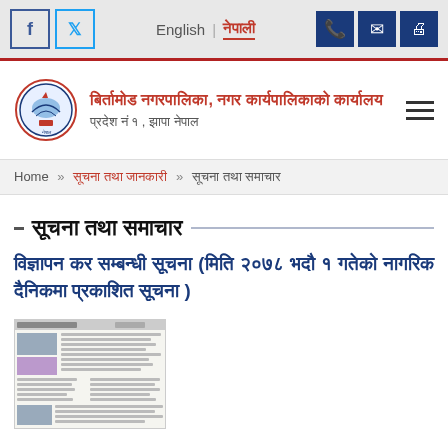Facebook Twitter | English | नेपाली | phone mail fax icons
बिर्तामोड नगरपालिका, नगर कार्यपालिकाको कार्यालय
प्रदेश नं १ , झापा नेपाल
Home » सूचना तथा जानकारी » सूचना तथा समाचार
सूचना तथा समाचार
विज्ञापन कर सम्बन्धी सूचना (मिति २०७८ भदौ १ गतेको नागरिक दैनिकमा प्रकाशित सूचना )
[Figure (photo): Thumbnail of a newspaper clipping (Nagarik Daily) showing the published notice about advertisement tax]